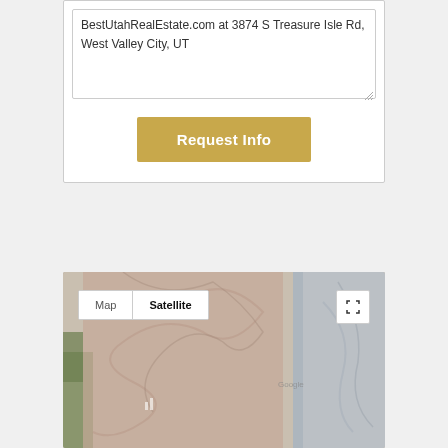BestUtahRealEstate.com at 3874 S Treasure Isle Rd, West Valley City, UT
Request Info
[Figure (map): Satellite map view showing aerial terrain. Map/Satellite toggle buttons visible at top left. Fullscreen button at top right. Terrain shows arid/desert landscape with muted earth tones.]